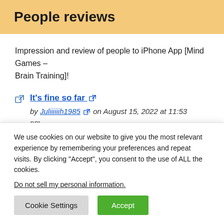People reviews
Impression and review of people to iPhone App [Mind Games – Brain Training]!
It's fine so far by Juliiiiiih1985 on August 15, 2022 at 11:53 pm
We use cookies on our website to give you the most relevant experience by remembering your preferences and repeat visits. By clicking “Accept”, you consent to the use of ALL the cookies.
Do not sell my personal information.